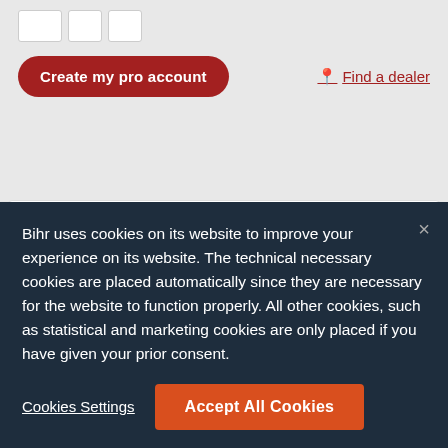[Figure (screenshot): Partial e-commerce product page showing quantity input boxes at top]
Create my pro account
Find a dealer
available
[Figure (photo): SKF fork seals product image - seals and rings]
SKF Fork External Friction Ring WP Ø48mm
Bihr uses cookies on its website to improve your experience on its website. The technical necessary cookies are placed automatically since they are necessary for the website to function properly. All other cookies, such as statistical and marketing cookies are only placed if you have given your prior consent.
Cookies Settings
Accept All Cookies